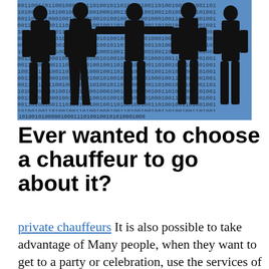[Figure (illustration): Illustration of black silhouettes of people (businessmen/women) against a blue background covered with binary digits (0s and 1s)]
Ever wanted to choose a chauffeur to go about it?
private chauffeurs It is also possible to take advantage of Many people, when they want to get to a party or celebration, use the services of a taxi. It